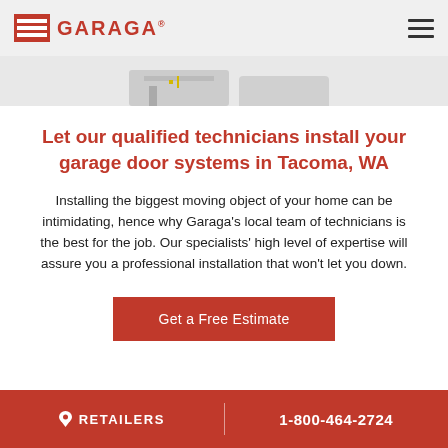GARAGA
[Figure (photo): Partial hero image strip showing a garage door or related image, cropped at top of content area]
Let our qualified technicians install your garage door systems in Tacoma, WA
Installing the biggest moving object of your home can be intimidating, hence why Garaga's local team of technicians is the best for the job. Our specialists' high level of expertise will assure you a professional installation that won't let you down.
Get a Free Estimate
RETAILERS | 1-800-464-2724